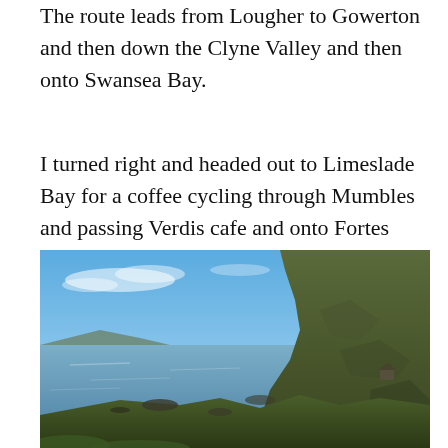The route leads from Lougher to Gowerton and then down the Clyne Valley and then onto Swansea Bay.
I turned right and headed out to Limeslade Bay for a coffee cycling through Mumbles and passing Verdis cafe and onto Fortes cafe.
[Figure (photo): Coastal landscape photograph showing a rocky shoreline with dark green hillside on the right, calm blue-grey sea in the middle distance, and a clear blue sky with light clouds above.]